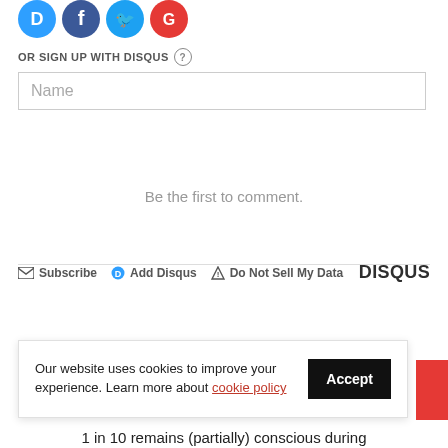[Figure (illustration): Partial social login icons: Disqus (blue), Facebook (dark blue), Twitter (light blue), Google (red) — circular icons, partially cropped at top]
OR SIGN UP WITH DISQUS ?
Name
Be the first to comment.
Subscribe  Add Disqus  Do Not Sell My Data  DISQUS
RECENT STORIES
Our website uses cookies to improve your experience. Learn more about cookie policy
1 in 10 remains (partially) conscious during